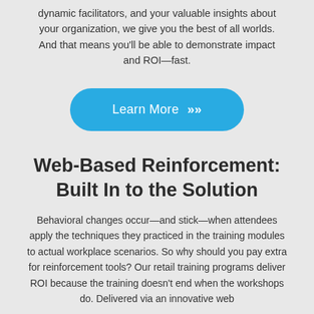dynamic facilitators, and your valuable insights about your organization, we give you the best of all worlds. And that means you'll be able to demonstrate impact and ROI—fast.
[Figure (other): Blue rounded rectangle button with white text 'Learn More' and double chevron arrows pointing right]
Web-Based Reinforcement: Built In to the Solution
Behavioral changes occur—and stick—when attendees apply the techniques they practiced in the training modules to actual workplace scenarios. So why should you pay extra for reinforcement tools? Our retail training programs deliver ROI because the training doesn't end when the workshops do. Delivered via an innovative web